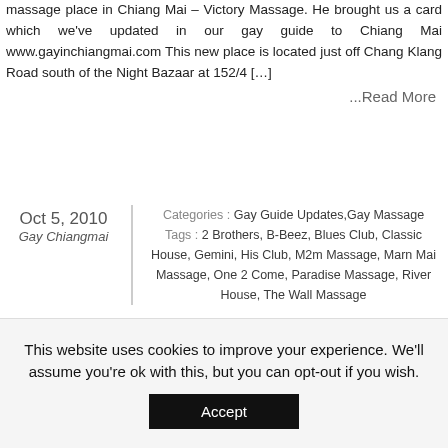massage place in Chiang Mai – Victory Massage. He brought us a card which we've updated in our gay guide to Chiang Mai www.gayinchiangmai.com This new place is located just off Chang Klang Road south of the Night Bazaar at 152/4 […]
...Read More
Oct 5, 2010
Gay Chiangmai
Categories : Gay Guide Updates, Gay Massage
Tags : 2 Brothers, B-Beez, Blues Club, Classic House, Gemini, His Club, M2m Massage, Marn Mai Massage, One 2 Come, Paradise Massage, River House, The Wall Massage
[Figure (other): Twitter Tweet button]
Images related to Blues Club «
Gallery of images related to Blues Club Click on any thumbnail to see the gallery. Note: images may cover various related topics depending on what article they appeared in and may not be specifically about the Tag in question.
This website uses cookies to improve your experience. We'll assume you're ok with this, but you can opt-out if you wish.
Accept